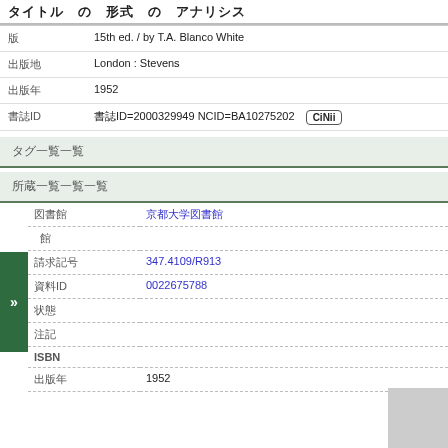タイトル　の　形式　の　アナリシス
| 版 | 15th ed. / by T.A. Blanco White |
| 出版地 | London : Stevens |
| 出版年 | 1952 |
| 書誌ID | 書誌ID=2000329949 NCID=BA10275202 CiNii |
タグ一覧一覧
所蔵一覧一覧一覧
| 図書館 | 京都大学図書館 |
| 館 |  |
| 請求記号 | 347.4109/R913 |
| 資料ID | 0022675788 |
| 状態 |  |
| 注記 |  |
| ISBN |  |
| 出版年 | 1952 |